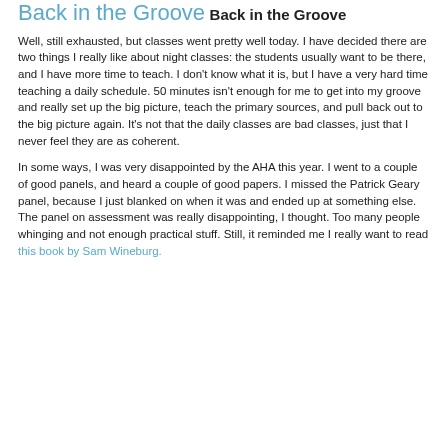Back in the Groove
Back in the Groove
Well, still exhausted, but classes went pretty well today. I have decided there are two things I really like about night classes: the students usually want to be there, and I have more time to teach. I don't know what it is, but I have a very hard time teaching a daily schedule. 50 minutes isn't enough for me to get into my groove and really set up the big picture, teach the primary sources, and pull back out to the big picture again. It's not that the daily classes are bad classes, just that I never feel they are as coherent.
In some ways, I was very disappointed by the AHA this year. I went to a couple of good panels, and heard a couple of good papers. I missed the Patrick Geary panel, because I just blanked on when it was and ended up at something else. The panel on assessment was really disappointing, I thought. Too many people whinging and not enough practical stuff. Still, it reminded me I really want to read this book by Sam Wineburg.